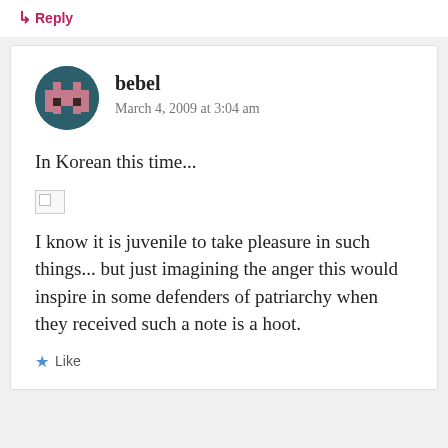↳ Reply
bebel
March 4, 2009 at 3:04 am
In Korean this time...
[Figure (other): Broken/missing image placeholder]
I know it is juvenile to take pleasure in such things... but just imagining the anger this would inspire in some defenders of patriarchy when they received such a note is a hoot.
Like